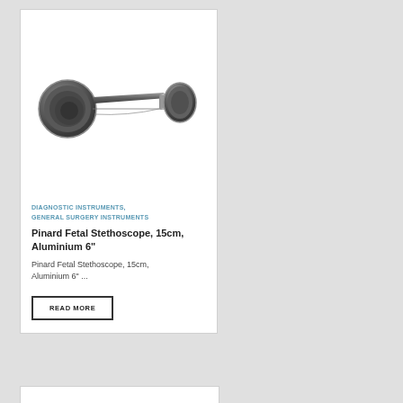[Figure (photo): Pinard fetal stethoscope, a metallic trumpet-shaped instrument with a flared bell on the left and a flat disc earpiece on the right, rendered in dark metallic silver finish]
DIAGNOSTIC INSTRUMENTS, GENERAL SURGERY INSTRUMENTS
Pinard Fetal Stethoscope, 15cm, Aluminium 6"
Pinard Fetal Stethoscope, 15cm, Aluminium 6" ...
READ MORE